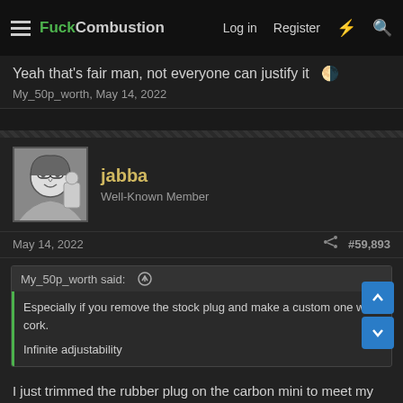FuckCombustion — Log in  Register
Yeah that's fair man, not everyone can justify it 🌗
My_50p_worth, May 14, 2022
jabba
Well-Known Member
May 14, 2022   #59,893
My_50p_worth said: ↑
Especially if you remove the stock plug and make a custom one with cork.

Infinite adjustability
I just trimmed the rubber plug on the carbon mini to meet my needs. I have several plugs of varying lengths to suit. Just a millimeter or two goes a long way.
Last edited: May 14, 2022